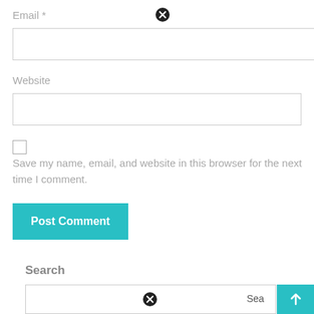Email *
Website
Save my name, email, and website in this browser for the next time I comment.
Post Comment
Search